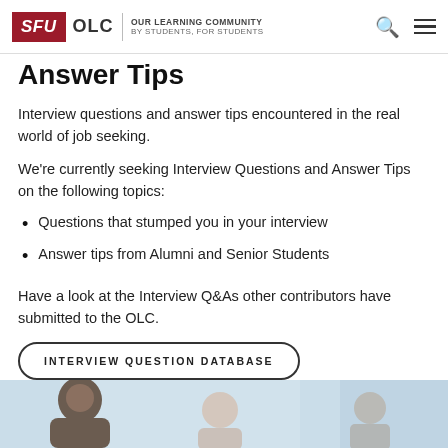SFU OLC | OUR LEARNING COMMUNITY BY STUDENTS, FOR STUDENTS
Answer Tips
Interview questions and answer tips encountered in the real world of job seeking.
We're currently seeking Interview Questions and Answer Tips on the following topics:
Questions that stumped you in your interview
Answer tips from Alumni and Senior Students
Have a look at the Interview Q&As other contributors have submitted to the OLC.
[Figure (other): Button: INTERVIEW QUESTION DATABASE]
[Figure (photo): Photo of people in an interview or meeting setting, cropped at bottom of page]